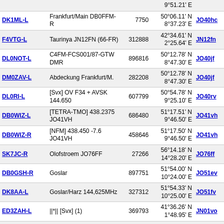| Callsign | Description | Number | Coordinates | Grid |
| --- | --- | --- | --- | --- |
|  |  |  | 9°51.21' E |  |
| DK1ML-L | Frankfurt/Main DB0FFM-R | 7750 | 50°06.11' N 8°37.23' E | JO40hc |
| F4VTG-L | Taurinya JN12FN (66-FR) | 312888 | 42°34.61' N 2°25.64' E | JN12fn |
| DL0NOT-L | C4FM-FCS001/87-GTW DMR | 896816 | 50°12.78' N 8°47.30' E | JO40jf |
| DM0ZAV-L | Abdeckung Frankfurt/M. | 282208 | 50°12.78' N 8°47.30' E | JO40jf |
| DL0RI-L | [Svx] OV F34 + AVSK 144.650 | 607799 | 50°54.78' N 9°25.10' E | JO40rv |
| DB0WIZ-L | [TETRA-TMO] 438.2375 JO41VH | 686480 | 51°17.51' N 9°46.50' E | JO41vh |
| DB0WIZ-R | [NFM] 438.450 -7.6 JO41VH | 458646 | 51°17.50' N 9°46.50' E | JO41vh |
| SK7JC-R | Olofstroem JO76FF | 27266 | 56°14.18' N 14°28.20' E | JO76ff |
| DB0GSH-R | Goslar | 897751 | 51°54.00' N 10°24.00' E | JO51ev |
| DK8AA-L | Goslar/Harz 144,625MHz | 327312 | 51°54.33' N 10°25.00' E | JO51fv |
| ED3ZAH-L | ||*|| [Svx] (1) | 369793 | 41°36.26' N 1°48.95' E | JN01vo |
| DM0ZBA-L | Bensheim | 243991 | 49°41.56' N 8°36.40' E | JN49hq |
| DM7AP-L | In Conference SW1KYI-L | 676018 | 49°29.29' N | JN49fl |